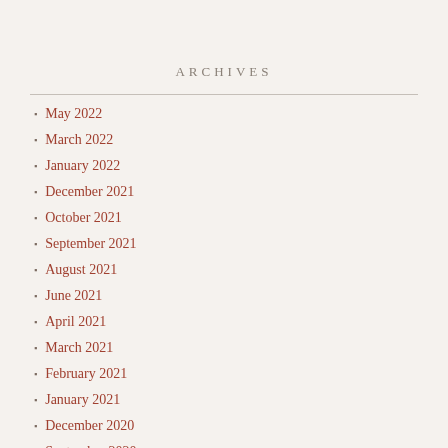ARCHIVES
May 2022
March 2022
January 2022
December 2021
October 2021
September 2021
August 2021
June 2021
April 2021
March 2021
February 2021
January 2021
December 2020
September 2020